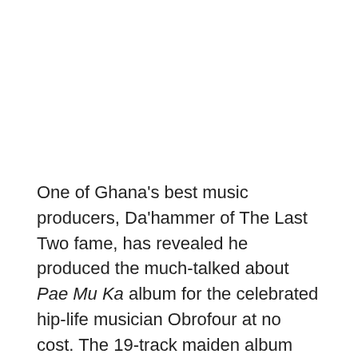One of Ghana's best music producers, Da'hammer of The Last Two fame, has revealed he produced the much-talked about Pae Mu Ka album for the celebrated hip-life musician Obrofour at no cost. The 19-track maiden album